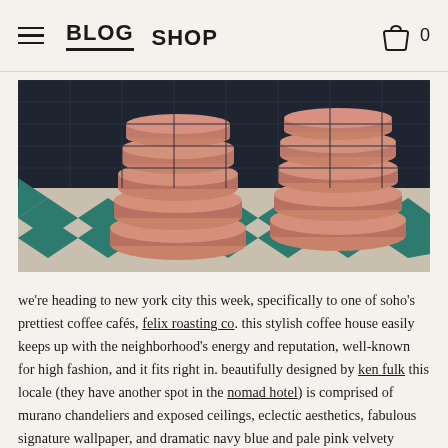BLOG  SHOP  0
[Figure (photo): Two stacks of round pink velvet ottomans/poufs on a chevron-patterned floor in navy and cream, against a dark tiled wall at Felix Roasting Co.]
we're heading to new york city this week, specifically to one of soho's prettiest coffee cafés, felix roasting co. this stylish coffee house easily keeps up with the neighborhood's energy and reputation, well-known for high fashion, and it fits right in. beautifully designed by ken fulk this locale (they have another spot in the nomad hotel) is comprised of murano chandeliers and exposed ceilings, eclectic aesthetics, fabulous signature wallpaper, and dramatic navy blue and pale pink velvety decor. it's coffee, albeit on the fancy side, so while we're